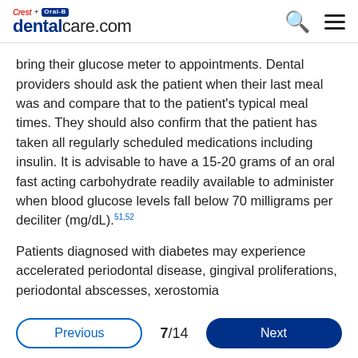Crest + Oral-B dentalcare.com
bring their glucose meter to appointments. Dental providers should ask the patient when their last meal was and compare that to the patient’s typical meal times. They should also confirm that the patient has taken all regularly scheduled medications including insulin. It is advisable to have a 15-20 grams of an oral fast acting carbohydrate readily available to administer when blood glucose levels fall below 70 milligrams per deciliter (mg/dL).µ51,52
Patients diagnosed with diabetes may experience accelerated periodontal disease, gingival proliferations, periodontal abscesses, xerostomia
Previous  7/14  Next